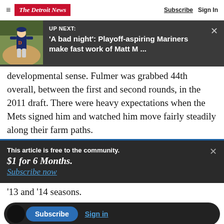The Detroit News — Subscribe  Sign In
[Figure (screenshot): UP NEXT banner with baseball player image: 'A bad night': Playoff-aspiring Mariners make fast work of Matt M ...]
developmental sense. Fulmer was grabbed 44th overall, between the first and second rounds, in the 2011 draft. There were heavy expectations when the Mets signed him and watched him move fairly steadily along their farm paths.
This article is free to the community.
$1 for 6 Months.
Subscribe now
'13 and '14 seasons.
Subscribe  Sign in
of 2016 a man could think about possibilities —